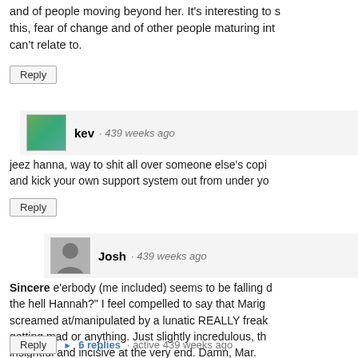and of people moving beyond her. It's interesting to s this, fear of change and of other people maturing int can't relate to.
Reply
kev · 439 weeks ago
jeez hanna, way to shit all over someone else's copi and kick your own support system out from under yo
Reply
Josh · 439 weeks ago
Sincere e'erbody (me included) seems to be falling d the hell Hannah?" I feel compelled to say that Marig screamed at/manipulated by a lunatic REALLY freak getting mad or anything. Just slightly incredulous, th insightful and incisive at the very end. Damn, Mar.
Reply ▶ 6 replies · active 439 weeks ago
Debra · 439 weeks ago